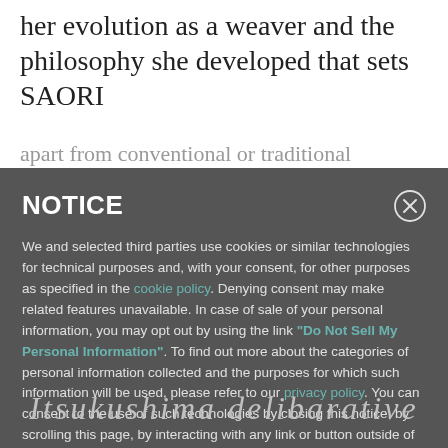her evolution as a weaver and the philosophy she developed that sets SAORI
apart from conventional or traditional
NOTICE
We and selected third parties use cookies or similar technologies for technical purposes and, with your consent, for other purposes as specified in the cookie policy. Denying consent may make related features unavailable. In case of sale of your personal information, you may opt out by using the link “Do Not Sell My Personal Information”. To find out more about the categories of personal information collected and the purposes for which such information will be used, please refer to our privacy policy. You can consent to the use of such technologies by closing this notice, by scrolling this page, by interacting with any link or button outside of this notice or by continuing to browse otherwise.